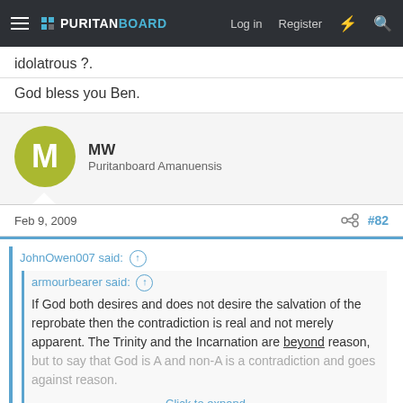Puritan Board — Log in | Register
idolatrous ?.
God bless you Ben.
MW — Puritanboard Amanuensis
Feb 9, 2009  #82
JohnOwen007 said: ↑
armourbearer said: ↑
If God both desires and does not desire the salvation of the reprobate then the contradiction is real and not merely apparent. The Trinity and the Incarnation are beyond reason, but to say that God is A and non-A is a contradiction and goes against reason.
Click to expand